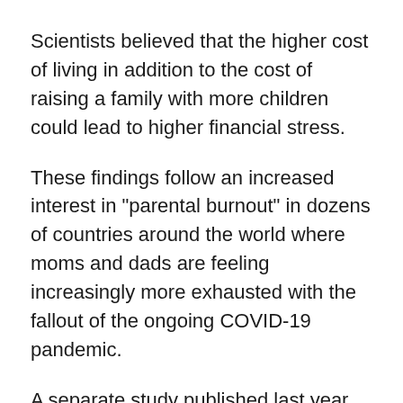Scientists believed that the higher cost of living in addition to the cost of raising a family with more children could lead to higher financial stress.
These findings follow an increased interest in "parental burnout" in dozens of countries around the world where moms and dads are feeling increasingly more exhausted with the fallout of the ongoing COVID-19 pandemic.
A separate study published last year found one specific cultural factor common in "Western" countries that played the largest role when determining the level of burnout.
The study was put together by the university UCLouvain in Belgium and thousands of parents in 42